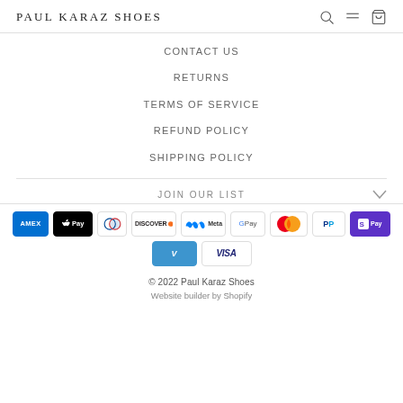PAUL KARAZ SHOES
CONTACT US
RETURNS
TERMS OF SERVICE
REFUND POLICY
SHIPPING POLICY
JOIN OUR LIST
[Figure (other): Payment method icons: American Express, Apple Pay, Diners Club, Discover, Meta Pay, Google Pay, Mastercard, PayPal, Shop Pay, Venmo, Visa]
© 2022 Paul Karaz Shoes
Website builder by Shopify